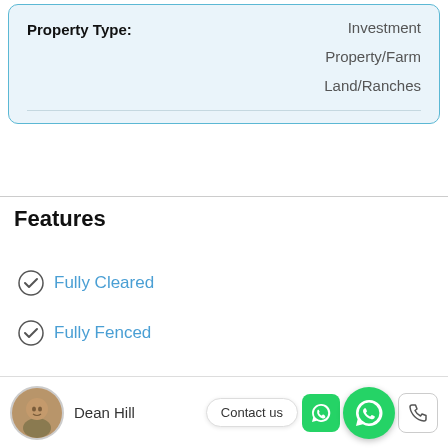| Property Type: |  |
| --- | --- |
|  | Investment |
|  | Property/Farm |
|  | Land/Ranches |
Features
Fully Cleared
Fully Fenced
Dean Hill
Contact us